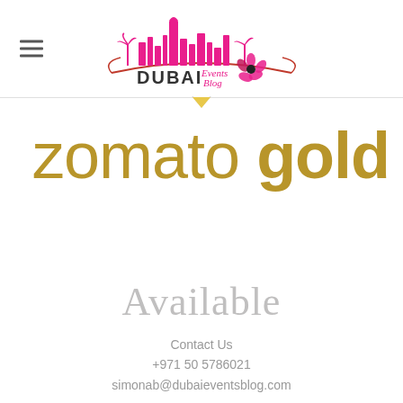[Figure (logo): Dubai Events Blog logo with pink cityscape silhouette and flower, text reads DUBAI Events Blog in pink and black]
zomato gold
Available
Contact Us
+971 50 5786021
simonab@dubaieventsblog.com